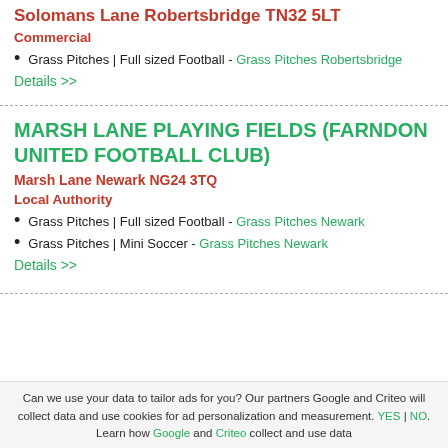Solomans Lane Robertsbridge TN32 5LT
Commercial
Grass Pitches | Full sized Football - Grass Pitches Robertsbridge
Details >>
MARSH LANE PLAYING FIELDS (FARNDON UNITED FOOTBALL CLUB)
Marsh Lane Newark NG24 3TQ
Local Authority
Grass Pitches | Full sized Football - Grass Pitches Newark
Grass Pitches | Mini Soccer - Grass Pitches Newark
Details >>
Can we use your data to tailor ads for you? Our partners Google and Criteo will collect data and use cookies for ad personalization and measurement. YES | NO. Learn how Google and Criteo collect and use data